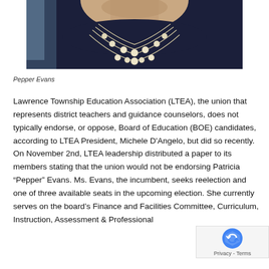[Figure (photo): Close-up photo of a woman wearing a dark navy top and a multi-strand pearl necklace, cropped to show neck and shoulders area.]
Pepper Evans
Lawrence Township Education Association (LTEA), the union that represents district teachers and guidance counselors, does not typically endorse, or oppose, Board of Education (BOE) candidates, according to LTEA President, Michele D'Angelo, but did so recently. On November 2nd, LTEA leadership distributed a paper to its members stating that the union would not be endorsing Patricia “Pepper” Evans. Ms. Evans, the incumbent, seeks reelection and one of three available seats in the upcoming election. She currently serves on the board’s Finance and Facilities Committee, Curriculum, Instruction, Assessment & Professional